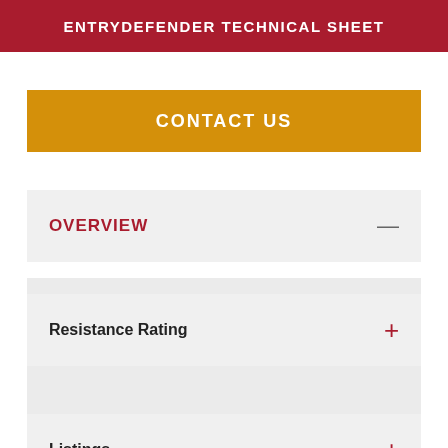ENTRYDEFENDER TECHNICAL SHEET
CONTACT US
OVERVIEW
Resistance Rating
Listings